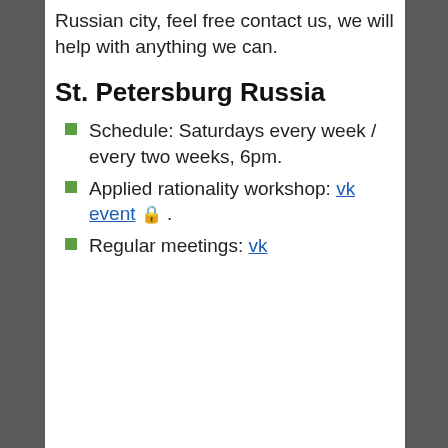Russian city, feel free contact us, we will help with anything we can.
St. Petersburg Russia
Schedule: Saturdays every week / every two weeks, 6pm.
Applied rationality workshop: vk event 🔒 .
Regular meetings: vk